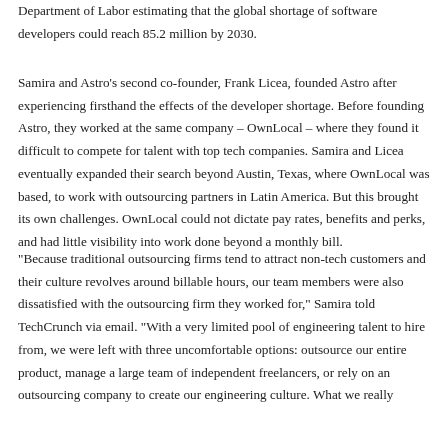Department of Labor estimating that the global shortage of software developers could reach 85.2 million by 2030.
Samira and Astro's second co-founder, Frank Licea, founded Astro after experiencing firsthand the effects of the developer shortage. Before founding Astro, they worked at the same company – OwnLocal – where they found it difficult to compete for talent with top tech companies. Samira and Licea eventually expanded their search beyond Austin, Texas, where OwnLocal was based, to work with outsourcing partners in Latin America. But this brought its own challenges. OwnLocal could not dictate pay rates, benefits and perks, and had little visibility into work done beyond a monthly bill.
"Because traditional outsourcing firms tend to attract non-tech customers and their culture revolves around billable hours, our team members were also dissatisfied with the outsourcing firm they worked for," Samira told TechCrunch via email. "With a very limited pool of engineering talent to hire from, we were left with three uncomfortable options: outsource our entire product, manage a large team of independent freelancers, or rely on an outsourcing company to create our engineering culture. What we really